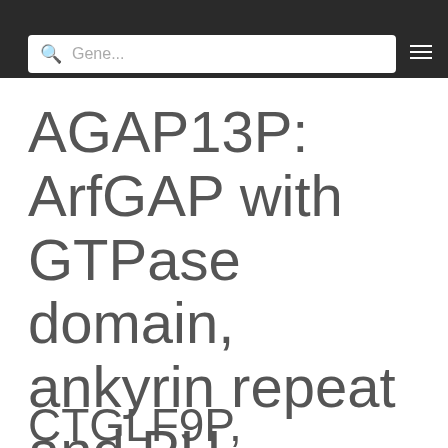Gene...
AGAP13P: ArfGAP with GTPase domain, ankyrin repeat and PH domain 13, pseudogene
CTGLF9P, bA548K23.1